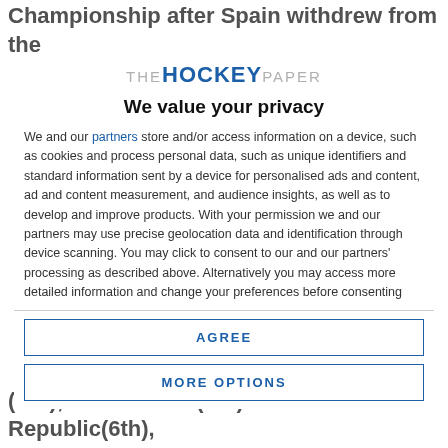Championship after Spain withdrew from the
[Figure (logo): The Hockey Paper logo with 'THE' in gray, 'HOCKEY' in bold blue, 'PAPER' in gray]
We value your privacy
We and our partners store and/or access information on a device, such as cookies and process personal data, such as unique identifiers and standard information sent by a device for personalised ads and content, ad and content measurement, and audience insights, as well as to develop and improve products. With your permission we and our partners may use precise geolocation data and identification through device scanning. You may click to consent to our and our partners' processing as described above. Alternatively you may access more detailed information and change your preferences before consenting
AGREE
MORE OPTIONS
(3rd), Netherlands(4th) and Czech Republic(6th),